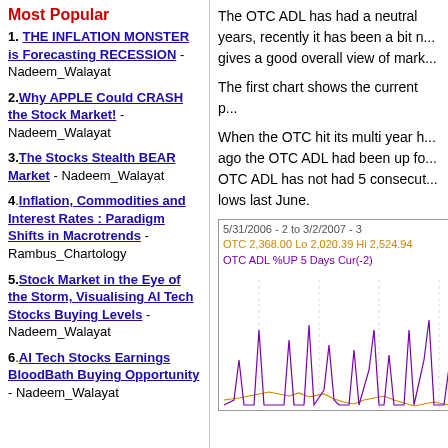Most Popular
1. THE INFLATION MONSTER is Forecasting RECESSION - Nadeem_Walayat
2. Why APPLE Could CRASH the Stock Market! - Nadeem_Walayat
3. The Stocks Stealth BEAR Market - Nadeem_Walayat
4. Inflation, Commodities and Interest Rates : Paradigm Shifts in Macrotrends - Rambus_Chartology
5. Stock Market in the Eye of the Storm, Visualising AI Tech Stocks Buying Levels - Nadeem_Walayat
6. AI Tech Stocks Earnings BloodBath Buying Opportunity - Nadeem_Walayat
The OTC ADL has had a neutral ... years, recently it has been a bit n... gives a good overall view of mark...
The first chart shows the current p...
When the OTC hit its multi year h... ago the OTC ADL had been up fo... OTC ADL has not had 5 consecut... lows last June.
[Figure (line-chart): OTC ADL %UP 5 Days Cur(-2) chart showing price and ADL lines from mid-2006 to early 2007]